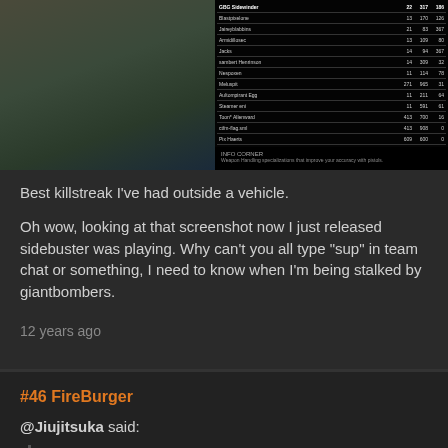[Figure (screenshot): Game screenshot showing a scoreboard/leaderboard with player names and scores on the right side, and a game environment view on the left. An info bar at the bottom shows weapon handling specializations text.]
Best killstreak I've had outside a vehicle.
Oh wow, looking at that screenshot now I just released sidebuster was playing. Why can't you all type "sup" in team chat or something, I need to know when I'm being stalked by giantbombers.
12 years ago
#46 FireBurger
@Jiujitsuka said:
" I think the game needs more dynamic lightning. Afaik the game does not really use it. Would be amazing with all the gunfire going off. I think Battlefield 2 had it. "